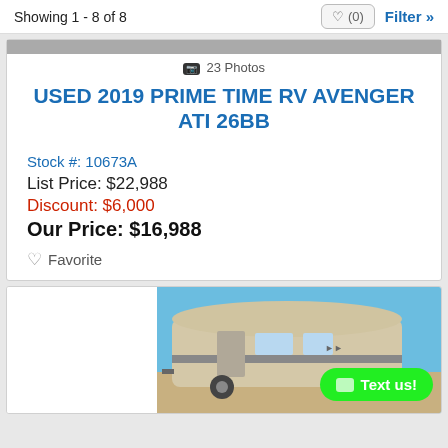Showing 1 - 8 of 8
23 Photos
USED 2019 PRIME TIME RV AVENGER ATI 26BB
Stock #: 10673A
List Price: $22,988
Discount: $6,000
Our Price: $16,988
Favorite
[Figure (photo): RV travel trailer parked outdoors with blue sky background]